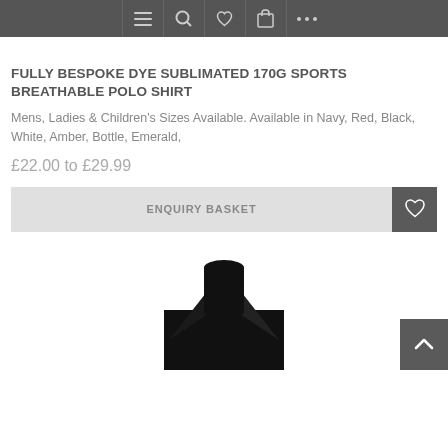[Figure (screenshot): Mobile website navigation bar with icons: hamburger menu, search, heart/wishlist, shopping bag, and more (ellipsis)]
FULLY BESPOKE DYE SUBLIMATED 170G SPORTS BREATHABLE POLO SHIRT
Mens, Ladies & Children's Sizes Available. Available in Navy, Red, Black, White, Amber, Bottle, Emerald,
£22.00 to £29.99
[Figure (screenshot): ENQUIRY BASKET button (light grey) with heart/wishlist icon button (dark grey) on the right]
[Figure (photo): Bottom portion of a black polo shirt collar/neck area against white background, with a dark grey scroll-to-top arrow button in bottom right corner]